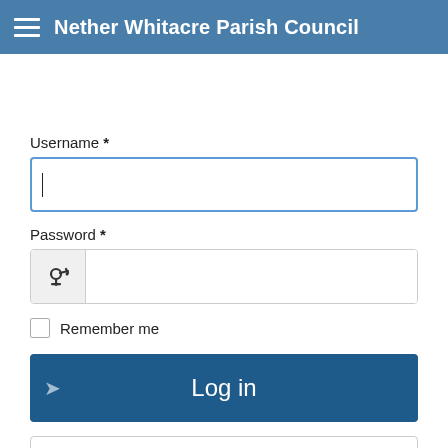Nether Whitacre Parish Council
Username *
Password *
Remember me
Log in
Forgot your password?